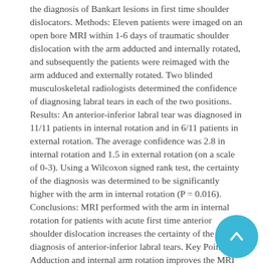the diagnosis of Bankart lesions in first time shoulder dislocators. Methods: Eleven patients were imaged on an open bore MRI within 1-6 days of traumatic shoulder dislocation with the arm adducted and internally rotated, and subsequently the patients were reimaged with the arm adduced and externally rotated. Two blinded musculoskeletal radiologists determined the confidence of diagnosing labral tears in each of the two positions. Results: An anterior-inferior labral tear was diagnosed in 11/11 patients in internal rotation and in 6/11 patients in external rotation. The average confidence was 2.8 in internal rotation and 1.5 in external rotation (on a scale of 0-3). Using a Wilcoxon signed rank test, the certainty of the diagnosis was determined to be significantly higher with the arm in internal rotation (P = 0.016). Conclusions: MRI performed with the arm in internal rotation for patients with acute first time anterior shoulder dislocation increases the certainty of the diagnosis of anterior-inferior labral tears. Key Points: • Adduction and internal arm rotation improves the MRI diagnosis of Bankart tears. • Arm positioning in ADIR has distinct advantages over abduction and external rotation. • Early imaging after shoulder dislocation may provide a diagnostically useful "arthrographic effect.